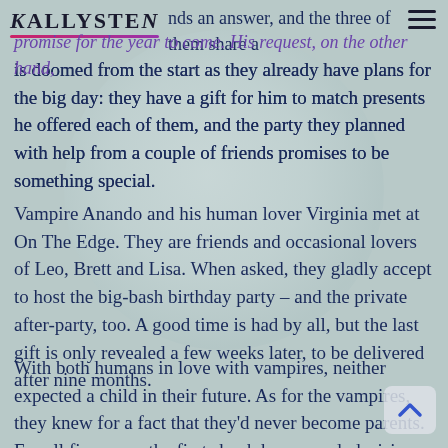KALLYSTEN
nds an answer, and the three of them share a promise for the year to come. His request, on the other hand, is doomed from the start as they already have plans for the big day: they have a gift for him to match presents he offered each of them, and the party they planned with help from a couple of friends promises to be something special.
Vampire Anando and his human lover Virginia met at On The Edge. They are friends and occasional lovers of Leo, Brett and Lisa. When asked, they gladly accept to host the big-bash birthday party – and the private after-party, too. A good time is had by all, but the last gift is only revealed a few weeks later, to be delivered after nine months.
With both humans in love with vampires, neither expected a child in their future. As for the vampires, they knew for a fact that they'd never become parents. For all five, once the first shock has passed, decisions have to be made. Will this new adventure strengthen bonds of love and friendship, or will it tear lives apart?